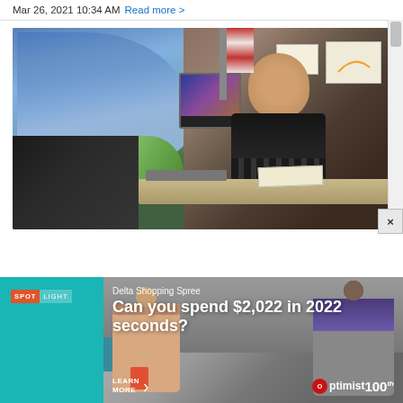Mar 26, 2021 10:34 AM Read more >
[Figure (photo): A broadcaster sits at a desk in a press box or broadcast booth overlooking a baseball stadium with blue seats. He is an older man wearing a black top and headset, looking toward the stadium. A monitor is on the desk and papers are visible. The stadium field is visible through the window.]
[Figure (infographic): Advertisement banner with teal background. Shows 'SPOTLIGHT' badge in orange/white, text 'Delta Shopping Spree', headline 'Can you spend $2,022 in 2022 seconds?', a 'LEARN MORE' call to action with arrow, and Optimist 100 logo. Background shows women shopping on a city street.]